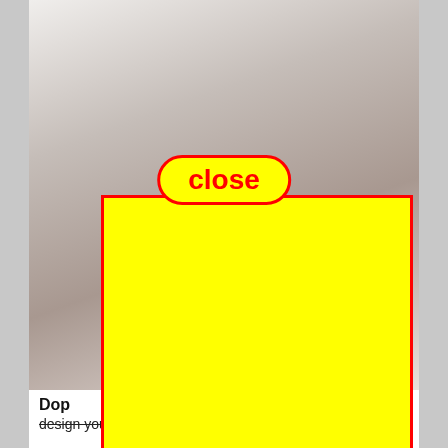[Figure (photo): A faded/washed-out photo of a person, visible in the upper portion of the page behind a 'close' button overlay and a yellow advertisement box.]
[Figure (other): A yellow rectangle with red border overlay (advertisement or modal box) covering the center-lower portion of the page.]
close
Dop
design you choose.) Anything could make a good